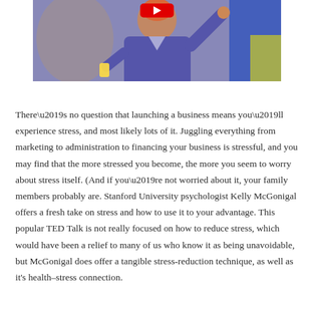[Figure (photo): A person presenting or speaking on stage with an outstretched hand, wearing a purple/blue outfit, with blurred background figures. A red YouTube play button overlay is visible at the top center.]
There’s no question that launching a business means you’ll experience stress, and most likely lots of it. Juggling everything from marketing to administration to financing your business is stressful, and you may find that the more stressed you become, the more you seem to worry about stress itself. (And if you’re not worried about it, your family members probably are. Stanford University psychologist Kelly McGonigal offers a fresh take on stress and how to use it to your advantage. This popular TED Talk is not really focused on how to reduce stress, which would have been a relief to many of us who know it as being unavoidable, but McGonigal does offer a tangible stress-reduction technique, as well as it’s health–stress connection.